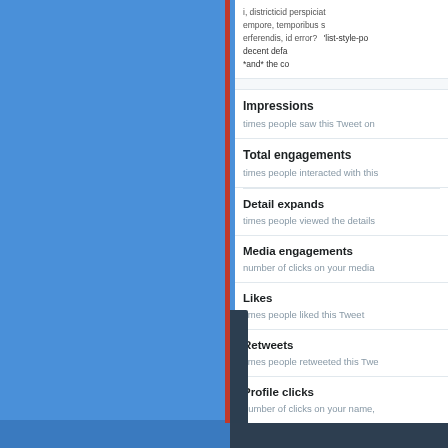[Figure (screenshot): Screenshot of Twitter Analytics interface showing a tweet and engagement metrics panel on the right side, with a blue background on the left representing the Twitter web UI]
i, districted perspicia... empore, temporibus s erferendis, id error?
'list-style-po decent defa *and* the co
Impressions
times people saw this Tweet on
Total engagements
times people interacted with thi
Detail expands
times people viewed the details
Media engagements
number of clicks on your media
Likes
times people liked this Tweet
Retweets
times people retweeted this Twe
Profile clicks
number of clicks on your name,